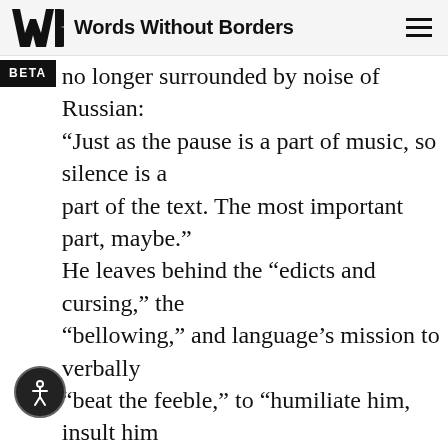Words Without Borders
no longer surrounded by noise of Russian: “Just as the pause is a part of music, so silence is a part of the text. The most important part, maybe.” He leaves behind the “edicts and cursing,” the “bellowing,” and language’s mission to verbally “beat the feeble,” to “humiliate him, insult him and steal his ration.” Surrounded by silence, these stories have an aphoristic quality; the slight jumps in Shishkin’s train of thought as he moves from general ideas to personal details feel like the silences that occur in conversation when a person zooms in on a detail or digresses to explore some more tangential idea.